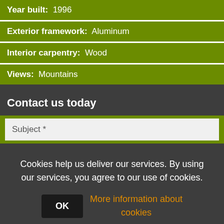| Year built: | 1996 |
| Exterior framework: | Aluminum |
| Interior carpentry: | Wood |
| Views: | Mountains |
Contact us today
Subject *
Cookies help us deliver our services. By using our services, you agree to our use of cookies.
OK
More information about cookies